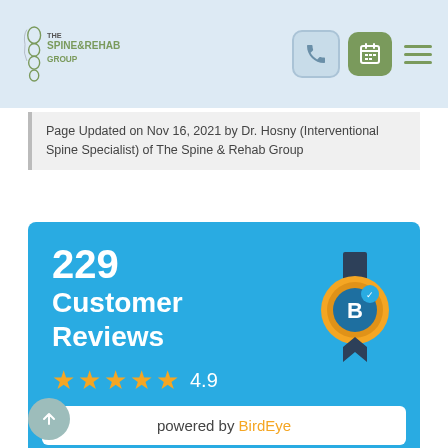[Figure (logo): The Spine & Rehab Group logo — stylized spine graphic with text]
Page Updated on Nov 16, 2021 by Dr. Hosny (Interventional Spine Specialist) of The Spine & Rehab Group
[Figure (infographic): BirdEye reviews widget: 229 Customer Reviews, 4.9 stars (5 gold stars), BirdEye badge, powered by BirdEye]